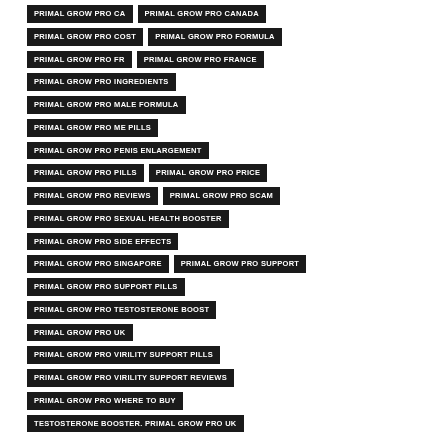PRIMAL GROW PRO CA
PRIMAL GROW PRO CANADA
PRIMAL GROW PRO COST
PRIMAL GROW PRO FORMULA
PRIMAL GROW PRO FR
PRIMAL GROW PRO FRANCE
PRIMAL GROW PRO INGREDIENTS
PRIMAL GROW PRO MALE FORMULA
PRIMAL GROW PRO ME PILLS
PRIMAL GROW PRO PENIS ENLARGEMENT
PRIMAL GROW PRO PILLS
PRIMAL GROW PRO PRICE
PRIMAL GROW PRO REVIEWS
PRIMAL GROW PRO SCAM
PRIMAL GROW PRO SEXUAL HEALTH BOOSTER
PRIMAL GROW PRO SIDE EFFECTS
PRIMAL GROW PRO SINGAPORE
PRIMAL GROW PRO SUPPORT
PRIMAL GROW PRO SUPPORT PILLS
PRIMAL GROW PRO TESTOSTERONE BOOST
PRIMAL GROW PRO UK
PRIMAL GROW PRO VIRILITY SUPPORT PILLS
PRIMAL GROW PRO VIRILITY SUPPORT REVIEWS
PRIMAL GROW PRO WHERE TO BUY
TESTOSTERONE BOOSTER. PRIMAL GROW PRO UK